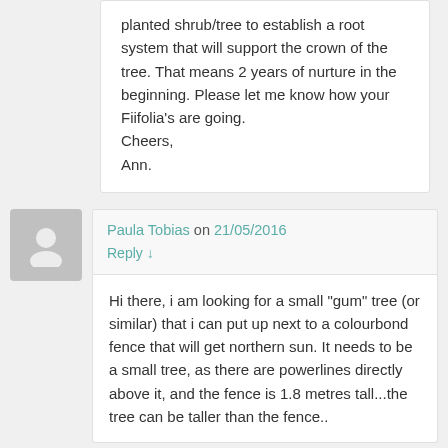planted shrub/tree to establish a root system that will support the crown of the tree. That means 2 years of nurture in the beginning. Please let me know how your Fiifolia's are going.
Cheers,
Ann.
Paula Tobias on 21/05/2016
Reply ↓
Hi there, i am looking for a small "gum" tree (or similar) that i can put up next to a colourbond fence that will get northern sun. It needs to be a small tree, as there are powerlines directly above it, and the fence is 1.8 metres tall...the tree can be taller than the fence..